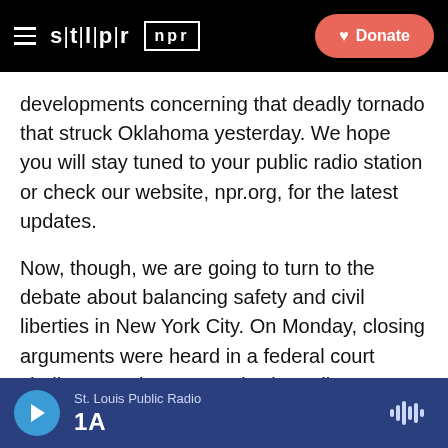stlpr | npr — Donate
developments concerning that deadly tornado that struck Oklahoma yesterday. We hope you will stay tuned to your public radio station or check our website, npr.org, for the latest updates.
Now, though, we are going to turn to the debate about balancing safety and civil liberties in New York City. On Monday, closing arguments were heard in a federal court challenge to the New York City Police Department's stop-and-frisk policy. For years, civil rights groups have accused the department of racial profiling and point to data that 87 percent of the stops last year were of black and Hispanic people.
St. Louis Public Radio | 1A